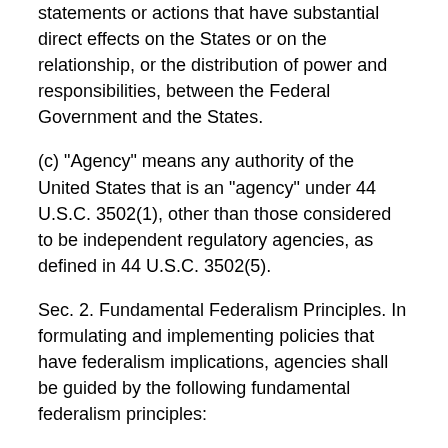statements or actions that have substantial direct effects on the States or on the relationship, or the distribution of power and responsibilities, between the Federal Government and the States.
(c) "Agency" means any authority of the United States that is an "agency" under 44 U.S.C. 3502(1), other than those considered to be independent regulatory agencies, as defined in 44 U.S.C. 3502(5).
Sec. 2. Fundamental Federalism Principles. In formulating and implementing policies that have federalism implications, agencies shall be guided by the following fundamental federalism principles:
(a) The structure of government established by the Constitution is premised upon a system of checks and balances.
(b) The Constitution created a Federal Government of supreme, but limited, powers. The sovereign powers not granted to the Federal Government are reserved to the people or to the States, unless prohibited to the states by the